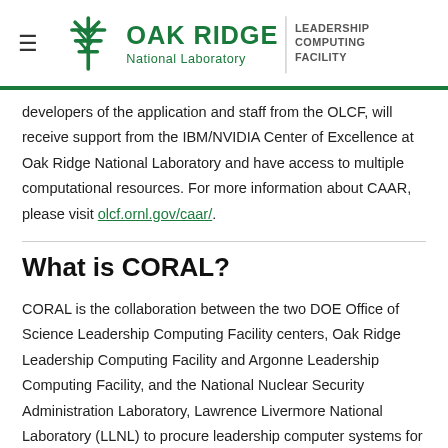Oak Ridge National Laboratory — Leadership Computing Facility
developers of the application and staff from the OLCF, will receive support from the IBM/NVIDIA Center of Excellence at Oak Ridge National Laboratory and have access to multiple computational resources. For more information about CAAR, please visit olcf.ornl.gov/caar/.
What is CORAL?
CORAL is the collaboration between the two DOE Office of Science Leadership Computing Facility centers, Oak Ridge Leadership Computing Facility and Argonne Leadership Computing Facility, and the National Nuclear Security Administration Laboratory, Lawrence Livermore National Laboratory (LLNL) to procure leadership computer systems for